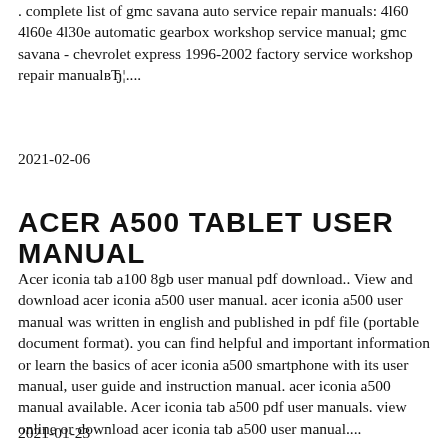. complete list of gmc savana auto service repair manuals: 4l60 4l60e 4l30e automatic gearbox workshop service manual; gmc savana - chevrolet express 1996-2002 factory service workshop repair manualвЂ¦....
2021-02-06
ACER A500 TABLET USER MANUAL
Acer iconia tab a100 8gb user manual pdf download.. View and download acer iconia a500 user manual. acer iconia a500 user manual was written in english and published in pdf file (portable document format). you can find helpful and important information or learn the basics of acer iconia a500 smartphone with its user manual, user guide and instruction manual. acer iconia a500 manual available. Acer iconia tab a500 pdf user manuals. view online or download acer iconia tab a500 user manual....
2021-01-23